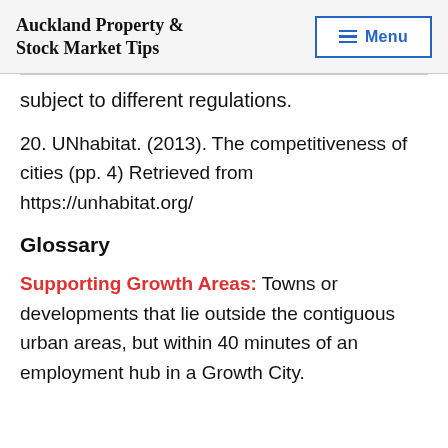Auckland Property & Stock Market Tips | Menu
subject to different regulations.
20. UNhabitat. (2013). The competitiveness of cities (pp. 4) Retrieved from https://unhabitat.org/
Glossary
Supporting Growth Areas: Towns or developments that lie outside the contiguous urban areas, but within 40 minutes of an employment hub in a Growth City.